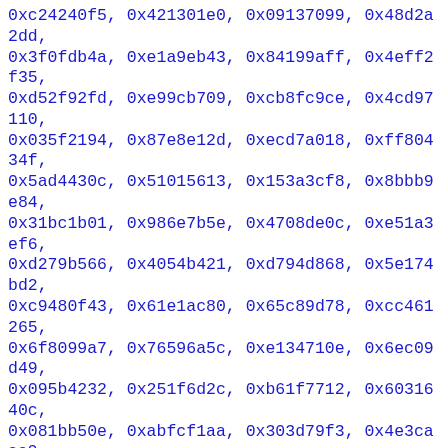0xc24240f5, 0x421301e0, 0x09137099, 0x48d2a2dd, 0x3f0fdb4a, 0xe1a9eb43, 0x84199aff, 0x4eff2f35, 0xd52f92fd, 0xe99cb709, 0xcb8fc9ce, 0x4cd97110, 0x035f2194, 0x87e8e12d, 0xecd7a018, 0xff80434f, 0x5ad4430c, 0x51015613, 0x153a3cf8, 0x8bbb9e84, 0x31bc1b01, 0x986e7b5e, 0x4708de0c, 0xe51a3ef6, 0xd279b566, 0x4054b421, 0xd794d868, 0x5e174bd2, 0xc9480f43, 0x61e1ac80, 0x65c89d78, 0xcc461265, 0x6f8099a7, 0x76596a5c, 0xe134710e, 0x6ec09d49, 0x095b4232, 0x251f6d2c, 0xb61f7712, 0x6031640c, 0x081bb50e, 0xabfcf1aa, 0x303d79f3, 0x4e3caaa9, 0xf87540ed, 0xf067072c, 0xe1e7f3a1, 0x82dd570b, 0x2110f555, 0x988cc833, 0x985002b4, 0xedd3b5c3, 0xf952a2cd, 0x06159e37, 0x1ac3e607, 0xda6888dc, 0x534a76c9, 0x2a7a4148, 0xb5433071, 0x392f077a, 0x4f91ca6e, 0x0c7736e0, 0x780dd6ed, 0x626f3aa9, 0x26db5cac, 0xd12bc3e6, 0x70d14be1, 0x0bc60171, 0x97203228, 0x66463a8d, 0x0ac460d4, 0xdf1906b3, 0x0d19058b, 0xaa96fa9a, 0x8b220888, 0xfad29e31, 0x90049f60, 0xb44780ab, 0xe52554ea, 0xe97a3e9e, 0x2142a187, 0x6ba5f497, 0xf43334a9, 0x9fb1c87, 0x2d1f1949, 0x964149d5, 0x3a39a1a9, 0x35669a1b